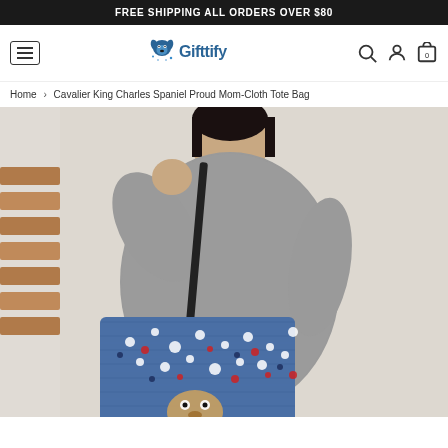FREE SHIPPING ALL ORDERS OVER $80
[Figure (logo): Gifttify brand logo with dog icon]
Home > Cavalier King Charles Spaniel Proud Mom-Cloth Tote Bag
[Figure (photo): Woman wearing a grey sweater carrying a blue floral tote bag with Cavalier King Charles Spaniel design, standing near wooden stairs]